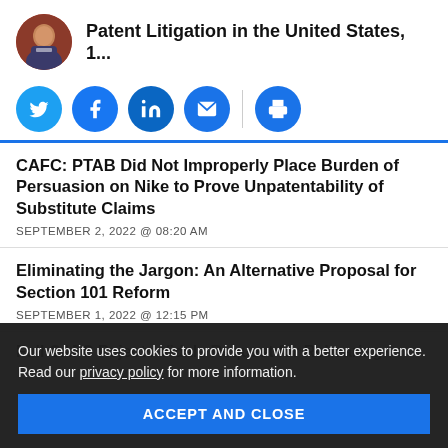Patent Litigation in the United States, 1...
[Figure (illustration): Social media share buttons: Twitter, Facebook, LinkedIn, Email (with vertical divider), Print]
CAFC: PTAB Did Not Improperly Place Burden of Persuasion on Nike to Prove Unpatentability of Substitute Claims
SEPTEMBER 2, 2022 @ 08:20 AM
Eliminating the Jargon: An Alternative Proposal for Section 101 Reform
SEPTEMBER 1, 2022 @ 12:15 PM
Full CAFC Rejects Vidals Request for Rehearing
Our website uses cookies to provide you with a better experience. Read our privacy policy for more information.
ACCEPT AND CLOSE